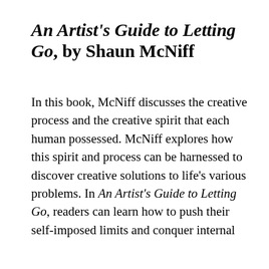An Artist's Guide to Letting Go, by Shaun McNiff
In this book, McNiff discusses the creative process and the creative spirit that each human possessed. McNiff explores how this spirit and process can be harnessed to discover creative solutions to life's various problems. In An Artist's Guide to Letting Go, readers can learn how to push their self-imposed limits and conquer internal